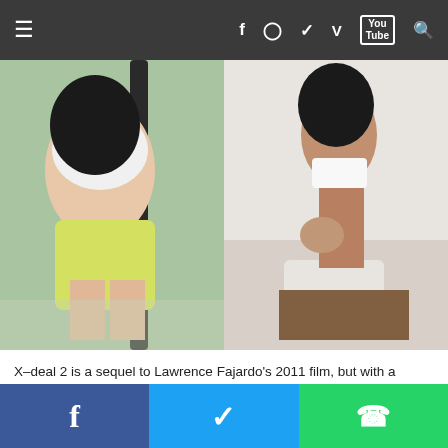Navigation bar with hamburger menu and social icons: Facebook, Instagram, Twitter, Vimeo, YouTube, Search
[Figure (photo): Two-photo strip: left photo shows a woman in white top and yellow skirt kneeling outdoors; right photo shows a woman in white bikini top and shorts sitting on a bed indoors]
X–deal 2 is a sequel to Lawrence Fajardo's 2011 film, but with a completely different set of characters and story. What connects the two films is the premise of bargaining and exchanging partners for pleasure.
Lawrence Fajardo recently directed the Pinoy Adaptation of A Hard Day, an official entry to Metro Manila Film Festival
Share bar: Facebook, Twitter, WhatsApp